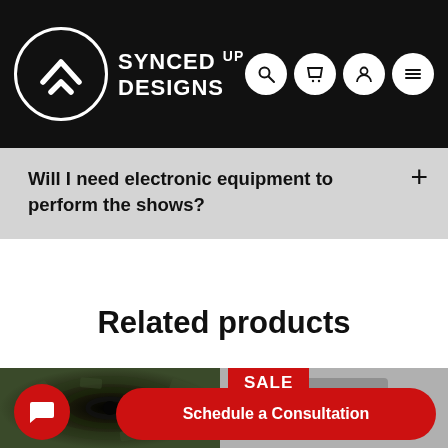[Figure (logo): Synced Up Designs logo: white circle with up-arrow chevron icon on black background, with white bold text SYNCED UP DESIGNS. Top right has 4 icon buttons (search, cart, user, menu) in white circles.]
Will I need electronic equipment to perform the shows?
Related products
[Figure (photo): Black hole / vortex made of dollar bills, dark swirling image]
[Figure (photo): Grey product image with SALE badge in red]
Schedule a Consultation